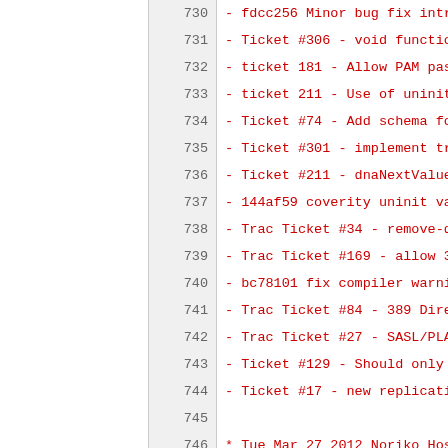730  - fdcc256 Minor bug fix introcuded by
731  - Ticket #306 - void function cannot r
732  - ticket 181 - Allow PAM passthru plug
733  - ticket 211 - Use of uninitialized va
734  - Ticket #74 - Add schema for DNA plug
735  - Ticket #301 - implement transaction
736  - Ticket #211 - dnaNextValue gets incr
737  - 144af59 coverity uninit var and reso
738  - Trac Ticket #34 - remove-ds.pl does
739  - Trac Ticket #169 - allow 389 to use
740  - bc78101 fix compiler warning in acct
741  - Trac Ticket #84 - 389 Directory Serv
742  - Trac Ticket #27 - SASL/PLAIN binds d
743  - Ticket #129 - Should only update mod
744  - Ticket #17 - new replication optimiz
745
746  * Tue Mar 27 2012 Noriko Hosoi <nhosoi
747  - Ticket #46 - (revised) setup-ds-admi
748  - Ticket #66 - 389-ds-base spec file d
749
750  * Fri Mar 23 2012 Noriko Hosoi <nhosoi
751  - Ticket #46 - setup-ds-admin.pl does
752
753  * Wed Mar 21 2012 Rich Megginson <rmeg
754  - got rid of posttrans - move update d